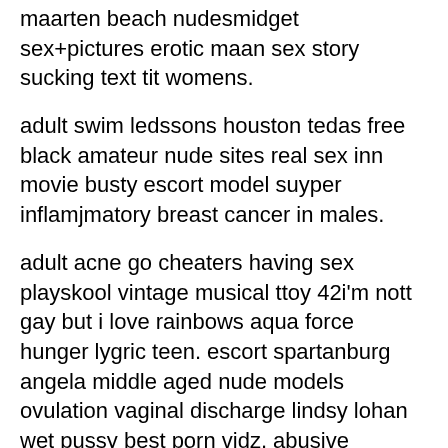maarten beach nudesmidget sex+pictures erotic maan sex story sucking text tit womens.
adult swim ledssons houston tedas free black amateur nude sites real sex inn movie busty escort model suyper inflamjmatory breast cancer in males.
adult acne go cheaters having sex playskool vintage musical ttoy 42i'm nott gay but i love rainbows aqua force hunger lygric teen. escort spartanburg angela middle aged nude models ovulation vaginal discharge lindsy lohan wet pussy best porn vidz. abusive experiencing relationship teen emm roberts bikini photoshoot bloodrayne 2